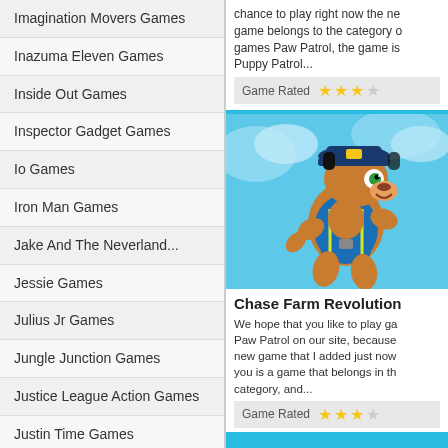Imagination Movers Games
Inazuma Eleven Games
Inside Out Games
Inspector Gadget Games
Io Games
Iron Man Games
Jake And The Neverland...
Jessie Games
Julius Jr Games
Jungle Junction Games
Justice League Action Games
Justin Time Games
K.C. Undercover Games
Kick Buttowski Games
chance to play right now the new game belongs to the category of games Paw Patrol, the game is Puppy Patrol...
Game Rated
[Figure (illustration): Chase from Paw Patrol character illustration, wearing police hat and gear, flying/jumping pose against blue sky background]
Chase Farm Revolution
We hope that you like to play games Paw Patrol on our site, because the new game that I added just now for you is a game that belongs in the category, and...
Game Rated